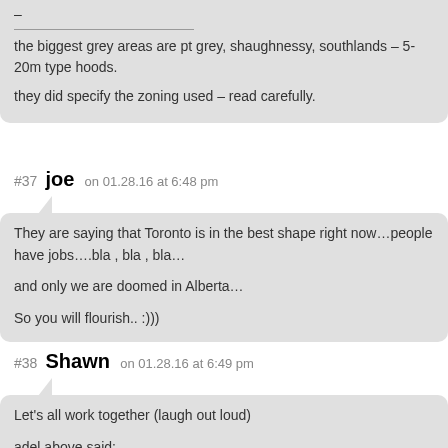–
the biggest grey areas are pt grey, shaughnessy, southlands – 5-20m type hoods.
they did specify the zoning used – read carefully.
#37 joe on 01.28.16 at 6:48 pm
They are saying that Toronto is in the best shape right now…people have jobs….bla , bla , bla…
and only we are doomed in Alberta…
So you will flourish.. :)))
#38 Shawn on 01.28.16 at 6:49 pm
Let's all work together (laugh out loud)
adel above said: